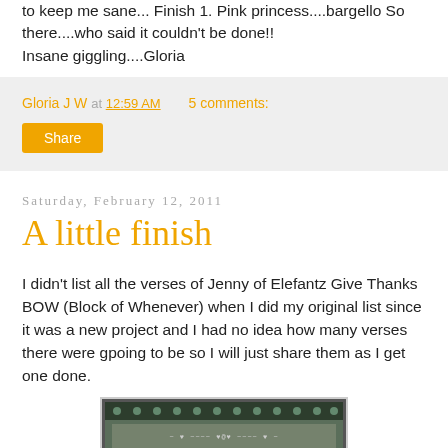to keep me sane... Finish 1. Pink princess....bargello So there....who said it couldn't be done!!
Insane giggling....Gloria
Gloria J W at 12:59 AM    5 comments:
Share
Saturday, February 12, 2011
A little finish
I didn't list all the verses of Jenny of Elefantz Give Thanks BOW (Block of Whenever) when I did my original list since it was a new project and I had no idea how many verses there were gpoing to be so I will just share them as I get one done.
[Figure (photo): A needlework or embroidery piece with a dark floral pattern border and text/stitching in the center]